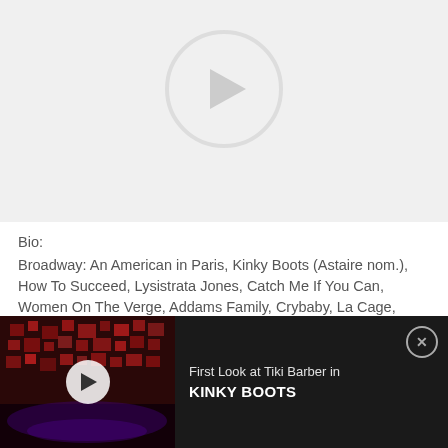[Figure (other): Video player area with circular play button outline visible at top of page against light gray background]
Bio:
Broadway: An American in Paris, Kinky Boots (Astaire nom.), How To Succeed, Lysistrata Jones, Catch Me If You Can, Women On The Verge, Addams Family, Crybaby, La Cage, Wicked. Film: Ted 2, I Am Legend, The Producers. Currently Co-Artistic Director at Working Artist Theater Project in NYC. (read complete bio)
Official Website
[Figure (screenshot): Advertisement banner showing a dark stage scene from Kinky Boots with red lighting, a play button overlay, and text 'First Look at Tiki Barber in KINKY BOOTS' with a close button]